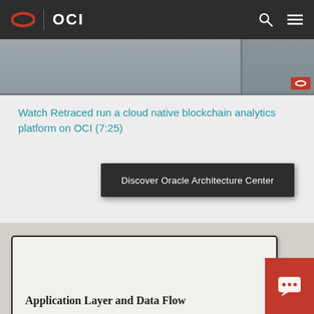OCI
[Figure (screenshot): Video thumbnail strip showing a partially visible video player interface with Oracle branding badge in the corner]
Watch Retraced run a cloud native blockchain analytics platform on OCI (7:25)
Discover Oracle Architecture Center
[Figure (engineering-diagram): Diagram box partially visible showing title 'Application Layer and Data Flow']